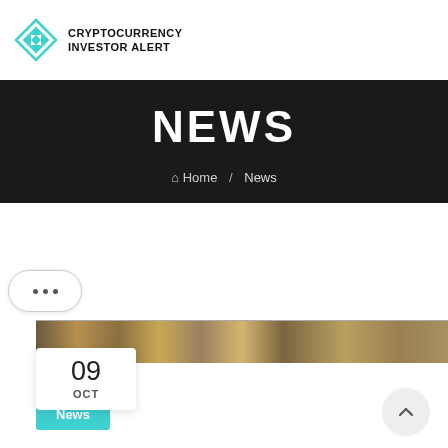CRYPTOCURRENCY INVESTOR ALERT
NEWS
Home / News
[Figure (photo): A brown/gold textured image strip, appearing to show coins or currency]
09 OCT
News